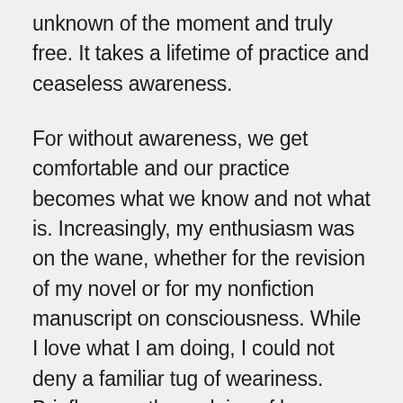unknown of the moment and truly free. It takes a lifetime of practice and ceaseless awareness.
For without awareness, we get comfortable and our practice becomes what we know and not what is. Increasingly, my enthusiasm was on the wane, whether for the revision of my novel or for my nonfiction manuscript on consciousness. While I love what I am doing, I could not deny a familiar tug of weariness. Briefly, even the malaise of lupus loomed as I turned more and more to the known of the past.